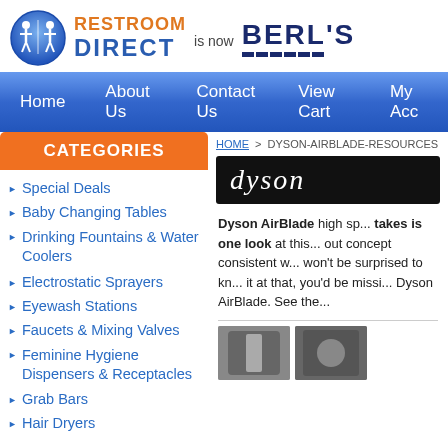RESTROOM DIRECT is now BERL'S
Home | About Us | Contact Us | View Cart | My Account
CATEGORIES
Special Deals
Baby Changing Tables
Drinking Fountains & Water Coolers
Electrostatic Sprayers
Eyewash Stations
Faucets & Mixing Valves
Feminine Hygiene Dispensers & Receptacles
Grab Bars
Hair Dryers
HOME > DYSON-AIRBLADE-RESOURCES
[Figure (logo): Dyson logo in white italic text on black background]
Dyson AirBlade high sp... takes is one look at this... out concept consistent w... won't be surprised to kn... it at that, you'd be missi... Dyson AirBlade. See the...
[Figure (photo): Small product thumbnail images of Dyson AirBlade hand dryer]